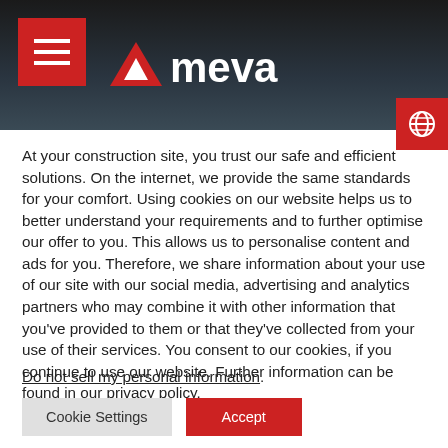[Figure (logo): MEVA company logo with red triangle and text, navigation header with hamburger menu and globe icon on dark background]
At your construction site, you trust our safe and efficient solutions. On the internet, we provide the same standards for your comfort. Using cookies on our website helps us to better understand your requirements and to further optimise our offer to you. This allows us to personalise content and ads for you. Therefore, we share information about your use of our site with our social media, advertising and analytics partners who may combine it with other information that you've provided to them or that they've collected from your use of their services. You consent to our cookies, if you continue to use our website. Further information can be found in our privacy policy.
Do not sell my personal information.
Cookie Settings   Accept